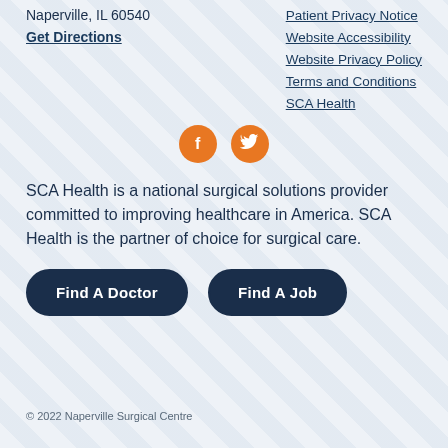Naperville, IL 60540
Get Directions
Patient Privacy Notice
Website Accessibility
Website Privacy Policy
Terms and Conditions
SCA Health
[Figure (illustration): Orange Facebook and Twitter social media icons]
SCA Health is a national surgical solutions provider committed to improving healthcare in America. SCA Health is the partner of choice for surgical care.
Find A Doctor
Find A Job
© 2022 Naperville Surgical Centre